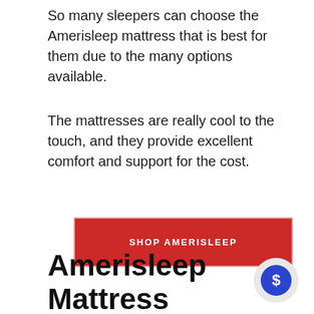So many sleepers can choose the Amerisleep mattress that is best for them due to the many options available.
The mattresses are really cool to the touch, and they provide excellent comfort and support for the cost.
[Figure (other): Red button with white uppercase text reading SHOP AMERISLEEP, with a light border outline]
Amerisleep Mattress FAQs
[Figure (other): Chat bubble icon: grey circle containing a blue circle with a dollar sign]